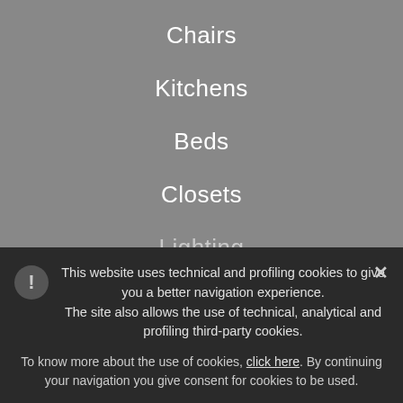Chairs
Kitchens
Beds
Closets
Lighting
Outdoor
Office furniture
This website uses technical and profiling cookies to give you a better navigation experience. The site also allows the use of technical, analytical and profiling third-party cookies.

To know more about the use of cookies, click here. By continuing your navigation you give consent for cookies to be used.